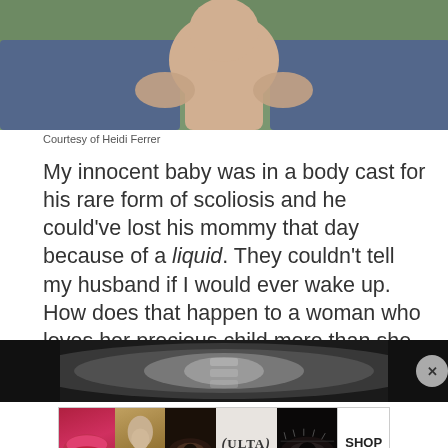[Figure (photo): Family photo showing adults and a baby outdoors on grass, cropped to show torsos and hands]
Courtesy of Heidi Ferrer
My innocent baby was in a body cast for his rare form of scoliosis and he could've lost his mommy that day because of a liquid. They couldn't tell my husband if I would ever wake up. How does that happen to a woman who loves her precious child more than she loves life itself?
[Figure (photo): X-ray image banner advertisement]
[Figure (other): Ulta Beauty cosmetics advertisement showing lips, makeup brush, eye, Ulta logo, eye, and SHOP NOW button]